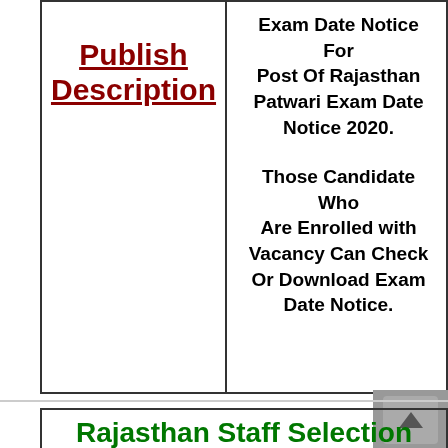| Publish Description | Content |
| --- | --- |
| Publish Description | Exam Date Notice For Post Of Rajasthan Patwari Exam Date Notice 2020. Those Candidate Who Are Enrolled with Vacancy Can Check Or Download Exam Date Notice. |
Rajasthan Staff Selection